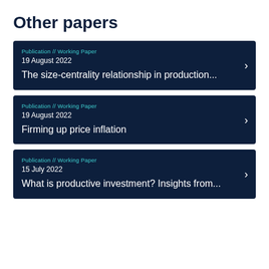Other papers
Publication // Working Paper | 19 August 2022 | The size-centrality relationship in production...
Publication // Working Paper | 19 August 2022 | Firming up price inflation
Publication // Working Paper | 15 July 2022 | What is productive investment? Insights from...